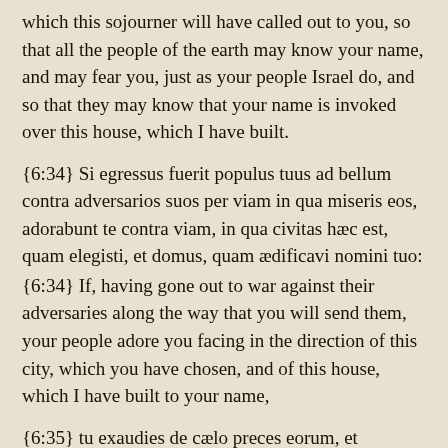which this sojourner will have called out to you, so that all the people of the earth may know your name, and may fear you, just as your people Israel do, and so that they may know that your name is invoked over this house, which I have built.
{6:34} Si egressus fuerit populus tuus ad bellum contra adversarios suos per viam in qua miseris eos, adorabunt te contra viam, in qua civitas hæc est, quam elegisti, et domus, quam ædificavi nomini tuo:
{6:34} If, having gone out to war against their adversaries along the way that you will send them, your people adore you facing in the direction of this city, which you have chosen, and of this house, which I have built to your name,
{6:35} tu exaudies de cælo preces eorum, et obsecrationem, et ulciscaris.
{6:35} you will heed their prayers from heaven, and their supplications, and you will vindicate them.